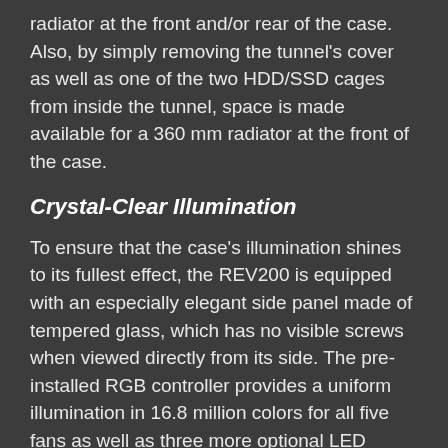radiator at the front and/or rear of the case. Also, by simply removing the tunnel's cover as well as one of the two HDD/SSD cages from inside the tunnel, space is made available for a 360 mm radiator at the front of the case.
Crystal-Clear Illumination
To ensure that the case's illumination shines to its fullest effect, the REV200 is equipped with an especially elegant side panel made of tempered glass, which has no visible screws when viewed directly from its side. The pre-installed RGB controller provides a uniform illumination in 16.8 million colors for all five fans as well as three more optional LED components. The fans of the REV200 are compatible with Asus Aura Sync, MSI Mystic Light Sync, Gigabyte Fusion and ASRock Polychrome SYNC. For mainboards which do not have a suitable